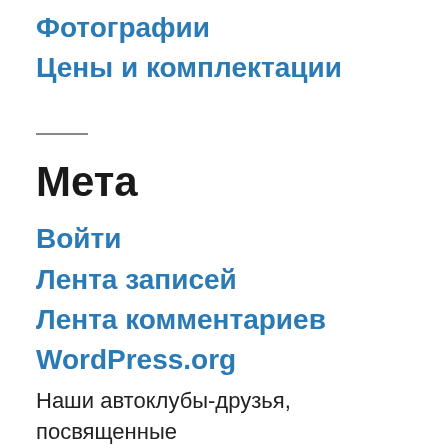Фотографии
Цены и комплектации
Мета
Войти
Лента записей
Лента комментариев
WordPress.org
Наши автоклубы-друзья, посвященные